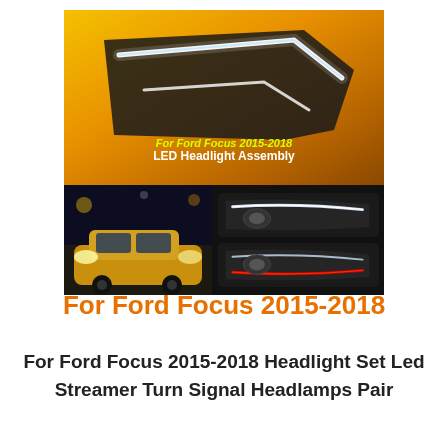[Figure (photo): Product listing image showing LED headlight assembly for Ford Focus 2015-2018. Top image shows a yellow car with LED headlight strip. Bottom left shows Ford Focus car at night. Bottom right shows two headlamp units (black with red accent). Overlaid text reads 'For Ford Focus 2015-2018' and 'LED Headlight Assembly'.]
For Ford Focus 2015-2018
For Ford Focus 2015-2018 Headlight Set Led Streamer Turn Signal Headlamps Pair